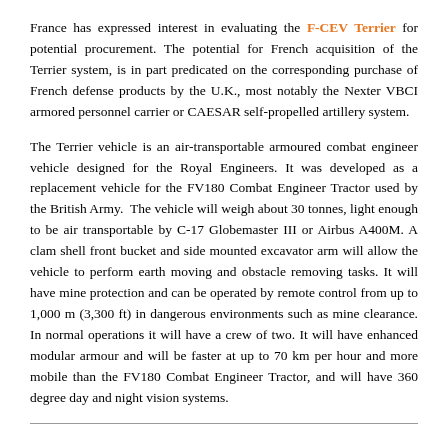France has expressed interest in evaluating the F-CEV Terrier for potential procurement. The potential for French acquisition of the Terrier system, is in part predicated on the corresponding purchase of French defense products by the U.K., most notably the Nexter VBCI armored personnel carrier or CAESAR self-propelled artillery system.
The Terrier vehicle is an air-transportable armoured combat engineer vehicle designed for the Royal Engineers. It was developed as a replacement vehicle for the FV180 Combat Engineer Tractor used by the British Army. The vehicle will weigh about 30 tonnes, light enough to be air transportable by C-17 Globemaster III or Airbus A400M. A clam shell front bucket and side mounted excavator arm will allow the vehicle to perform earth moving and obstacle removing tasks. It will have mine protection and can be operated by remote control from up to 1,000 m (3,300 ft) in dangerous environments such as mine clearance. In normal operations it will have a crew of two. It will have enhanced modular armour and will be faster at up to 70 km per hour and more mobile than the FV180 Combat Engineer Tractor, and will have 360 degree day and night vision systems.